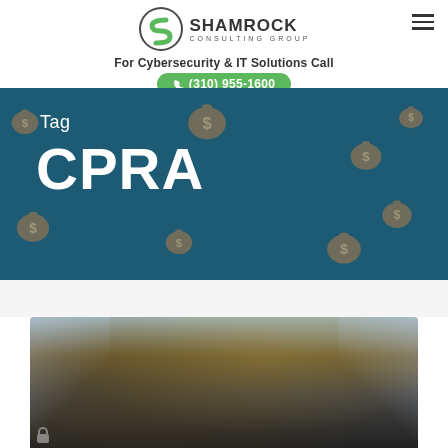[Figure (logo): Shamrock Consulting Group logo with green circular S icon and company name]
For Cybersecurity & IT Solutions Call
(310) 955-1600
Tag
CPRA
[Figure (photo): Photo of a padlock or cybersecurity-related image with spotlight effects on dark background]